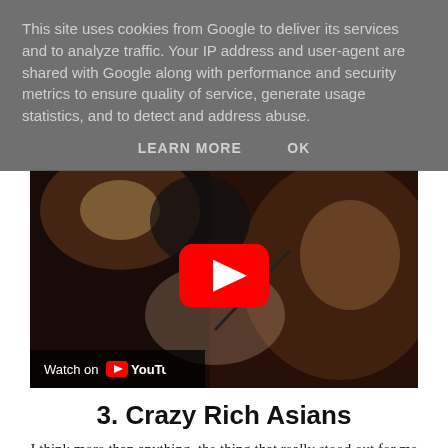This site uses cookies from Google to deliver its services and to analyze traffic. Your IP address and user-agent are shared with Google along with performance and security metrics to ensure quality of service, generate usage statistics, and to detect and address abuse.
LEARN MORE   OK
[Figure (screenshot): YouTube video thumbnail showing a woman singing with clasped hands, a man in background, with a large red YouTube play button overlay and 'Watch on YouTube' label at bottom left.]
3. Crazy Rich Asians
I think more than anything, the thing that really stood out for me with